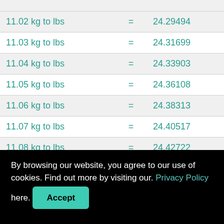| Conversion | = | Result |
| --- | --- | --- |
| 11.02 kg to lbs | = | 24.29494 |
| 11.03 kg to lbs | = | 24.31699 |
| 11.04 kg to lbs | = | 24.33903 |
| 11.05 kg to lbs | = | 24.36108 |
| 11.06 kg to lbs | = | 24.38313 |
| 11.07 kg to lbs | = | 24.40517 |
| 11.08 kg to lbs | = | 24.42722 |
By browsing our website, you agree to our use of cookies. Find out more by visiting our. Privacy Policy here.